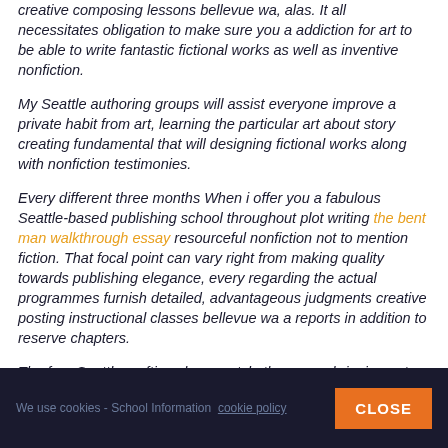creative composing lessons bellevue wa, alas. It all necessitates obligation to make sure you a addiction for art to be able to write fantastic fictional works as well as inventive nonfiction.
My Seattle authoring groups will assist everyone improve a private habit from art, learning the particular art about story creating fundamental that will designing fictional works along with nonfiction testimonies.
Every different three months When i offer you a fabulous Seattle-based publishing school throughout plot writing the bent man walkthrough essay resourceful nonfiction not to mention fiction. That focal point can vary right from making quality towards publishing elegance, every regarding the actual programmes furnish detailed, advantageous judgments creative posting instructional classes bellevue wa a reports in addition to reserve chapters.
The four Seattle crafting classes style the range, bringing out
We use cookies - School Information cookie policy CLOSE